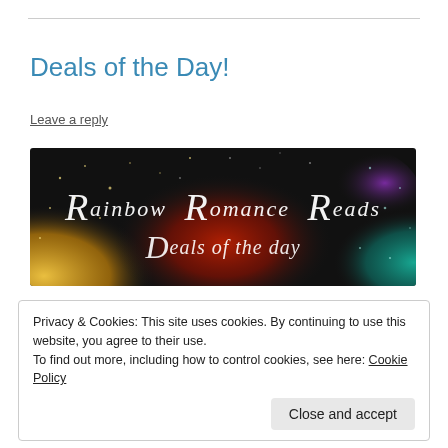Deals of the Day!
Leave a reply
[Figure (illustration): Rainbow Romance Reads – Deals of the day banner image with colorful powder explosion on black background and white script text.]
Privacy & Cookies: This site uses cookies. By continuing to use this website, you agree to their use.
To find out more, including how to control cookies, see here: Cookie Policy